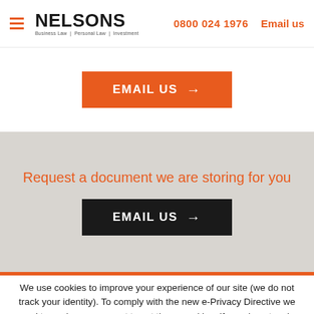NELSONS | Business Law | Personal Law | Investment | 0800 024 1976 | Email us
[Figure (other): Orange 'EMAIL US →' button on white background]
Request a document we are storing for you
[Figure (other): Black 'EMAIL US →' button on gray background]
We use cookies to improve your experience of our site (we do not track your identity). To comply with the new e-Privacy Directive we need to seek your consent to set these cookies. If you do not make a selection, we will assume that you consent to the cookies being set. Find out more. Accept